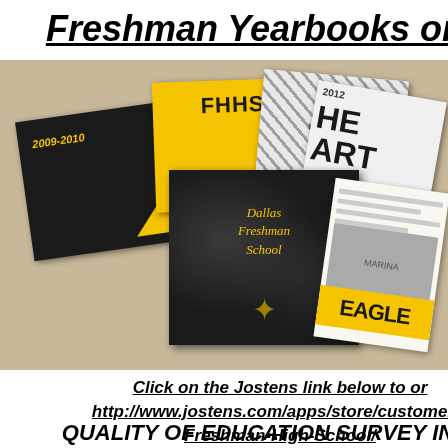Freshman Yearbooks on sa
[Figure (photo): Photo of multiple Freshman High School yearbooks spread out on a table, including a black 2009-2010 yearbook with yellow triangle, a yellow FHHS yearbook, a black marble-cover yearbook with gold text reading Dallas Freshman School, a collage-style yearbook, a 2012 art-themed book, and a newspaper-style yearbook with an eagle banner.]
Click on the Jostens link below to or
http://www.jostens.com/apps/store/customer/2
Freshman-High-School/
QUALITY OF EDUCATION SURVEY INSTR